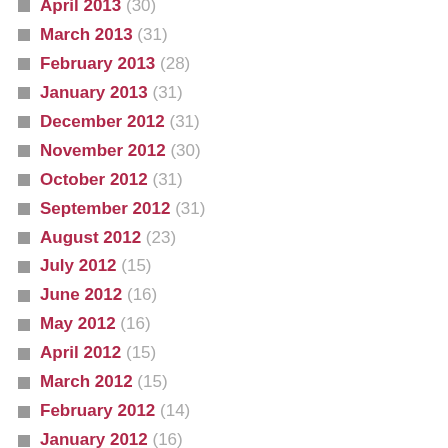April 2013 (30)
March 2013 (31)
February 2013 (28)
January 2013 (31)
December 2012 (31)
November 2012 (30)
October 2012 (31)
September 2012 (31)
August 2012 (23)
July 2012 (15)
June 2012 (16)
May 2012 (16)
April 2012 (15)
March 2012 (15)
February 2012 (14)
January 2012 (16)
December 2011 (15)
November 2011 (14)
October 2011 (16)
September 2011 (16)
August 2011 (16)
July 2011 (14)